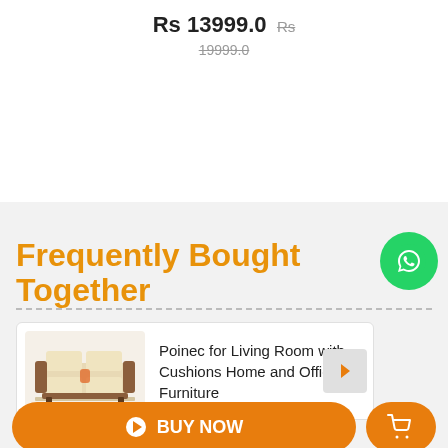Rs 13999.0  Rs 19999.0
Frequently Bought Together
[Figure (photo): Sofa / couch product image - cream colored cushioned sofa with dark wooden frame]
Poinec for Living Room with Cushions Home and Office Furniture
BUY NOW